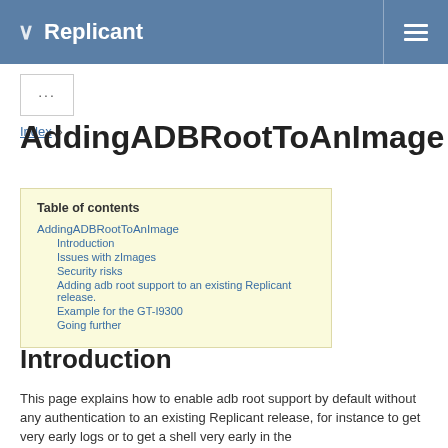Replicant
...
Index »
AddingADBRootToAnImage
Table of contents
AddingADBRootToAnImage
Introduction
Issues with zImages
Security risks
Adding adb root support to an existing Replicant release.
Example for the GT-I9300
Going further
Introduction
This page explains how to enable adb root support by default without any authentication to an existing Replicant release, for instance to get very early logs or to get a shell very early in the